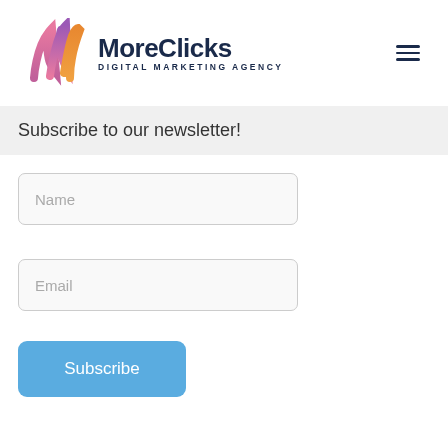[Figure (logo): MoreClicks Digital Marketing Agency logo with colorful M icon and dark navy text]
Subscribe to our newsletter!
Name
Email
Subscribe